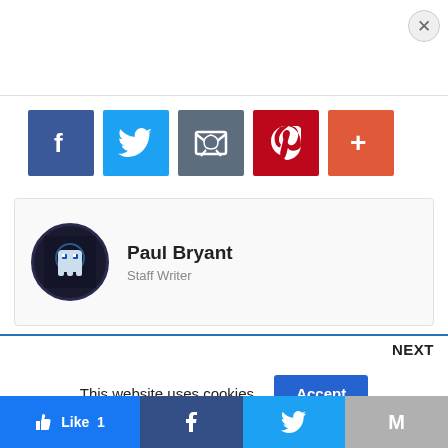[Figure (screenshot): Social share buttons: Facebook (blue), Twitter (light blue), Email (gray), Pinterest (red), More (orange-red), with a close X button in top right]
[Figure (screenshot): Author bio card showing circular avatar with pixel-art ghost/pac-man image, name 'Paul Bryant', title 'Staff Writer']
NEXT
This website uses cookies.
[Figure (screenshot): Bottom social action bar with Like 1 (blue), Facebook share (dark blue), Twitter share (light blue), and Mail (gray) buttons]